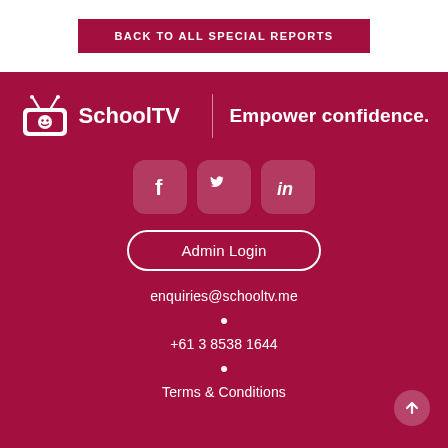BACK TO ALL SPECIAL REPORTS
[Figure (logo): SchoolTV logo with TV icon and tagline 'Empower confidence.']
[Figure (illustration): Social media icons: Facebook, Twitter, LinkedIn]
Admin Login
enquiries@schooltv.me
+61 3 8538 1644
Terms & Conditions